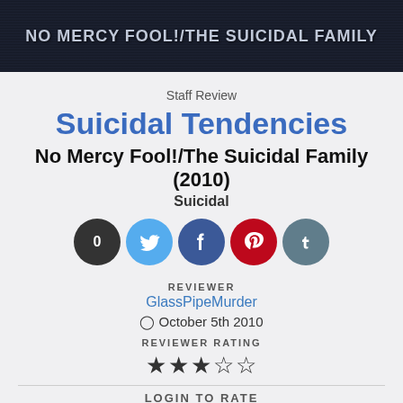[Figure (photo): Dark banner image with text 'NO MERCY FOOL!/THE SUICIDAL FAMILY' on a dark textured background]
Staff Review
Suicidal Tendencies
No Mercy Fool!/The Suicidal Family (2010)
Suicidal
[Figure (infographic): Social sharing buttons: count (0), Twitter, Facebook, Pinterest, Tumblr]
REVIEWER
GlassPipeMurder
October 5th 2010
REVIEWER RATING
★★★☆☆
LOGIN TO RATE